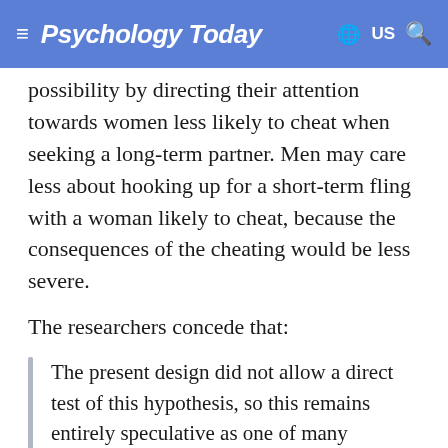Psychology Today
possibility by directing their attention towards women less likely to cheat when seeking a long-term partner. Men may care less about hooking up for a short-term fling with a woman likely to cheat, because the consequences of the cheating would be less severe.
The researchers concede that:
The present design did not allow a direct test of this hypothesis, so this remains entirely speculative as one of many possibilities for the pattern observed.
Follow up research may focus on this and other